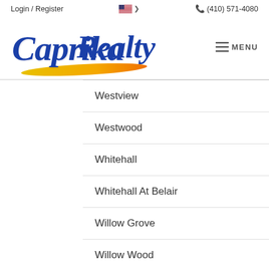Login / Register  (410) 571-4080
[Figure (logo): Caprika Realty logo with blue script text and yellow swoosh underline]
Westview
Westwood
Whitehall
Whitehall At Belair
Willow Grove
Willow Wood
Willow Wood Estates
Woodland Bowie Condo